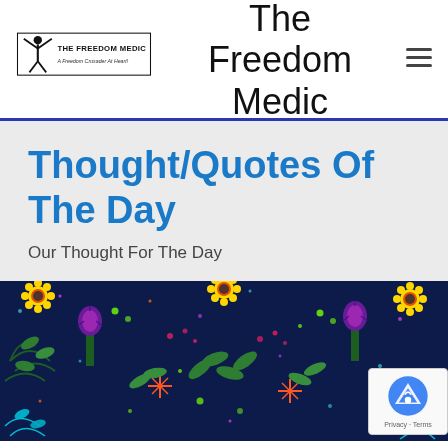[Figure (logo): The Freedom Medic logo: stylized figure with arms raised, text 'THE FREEDOM MEDIC' and tagline 'A Freedom Crusader At Heart!']
The Freedom Medic
Thought/Quotes Of The Day
Our Thought For The Day
[Figure (illustration): Colorful floral pattern on dark navy background with flowers, leaves, and botanical motifs in teal, green, pink, yellow, and purple.]